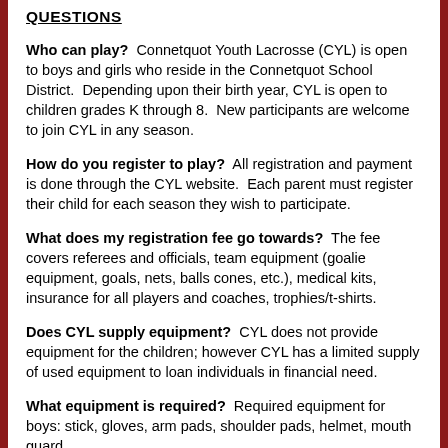QUESTIONS
Who can play?  Connetquot Youth Lacrosse (CYL) is open to boys and girls who reside in the Connetquot School District.  Depending upon their birth year, CYL is open to children grades K through 8.  New participants are welcome to join CYL in any season.
How do you register to play?  All registration and payment is done through the CYL website.  Each parent must register their child for each season they wish to participate.
What does my registration fee go towards?  The fee covers referees and officials, team equipment (goalie equipment, goals, nets, balls cones, etc.), medical kits, insurance for all players and coaches, trophies/t-shirts.
Does CYL supply equipment?  CYL does not provide equipment for the children; however CYL has a limited supply of used equipment to loan individuals in financial need.
What equipment is required?  Required equipment for boys: stick, gloves, arm pads, shoulder pads, helmet, mouth guard